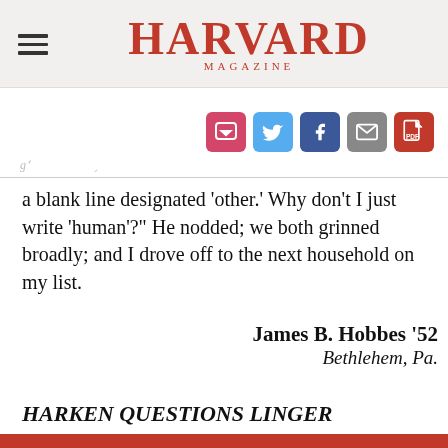HARVARD MAGAZINE
[Figure (infographic): Social sharing icons: Pocket, Twitter, Facebook, Email, PDF]
a blank line designated 'other.' Why don't I just write 'human'?" He nodded; we both grinned broadly; and I drove off to the next household on my list.
James B. Hobbes '52
Bethlehem, Pa.
HARKEN QUESTIONS LINGER